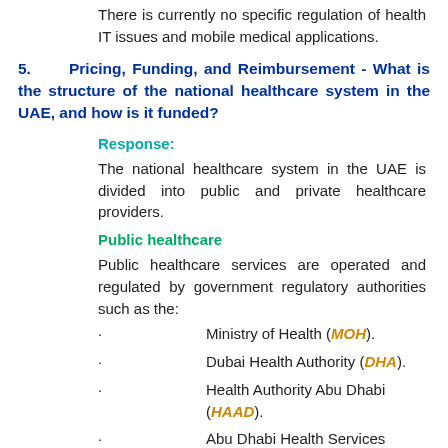There is currently no specific regulation of health IT issues and mobile medical applications.
5.    Pricing, Funding, and Reimbursement - What is the structure of the national healthcare system in the UAE, and how is it funded?
Response:
The national healthcare system in the UAE is divided into public and private healthcare providers.
Public healthcare
Public healthcare services are operated and regulated by government regulatory authorities such as the:
Ministry of Health (MOH).
Dubai Health Authority (DHA).
Health Authority Abu Dhabi (HAAD).
Abu Dhabi Health Services Company